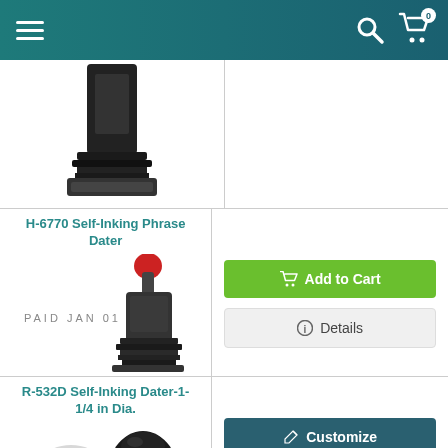Navigation bar with hamburger menu, search icon, and cart icon (0 items)
[Figure (photo): Partial view of a self-inking stamp product image, cropped at top]
H-6770 Self-Inking Phrase Dater
[Figure (photo): H-6770 Self-Inking Phrase Dater stamp showing PAID JAN 01 2015 impression with red-topped handle]
[Figure (photo): Add to Cart button (green)]
[Figure (photo): Details button (light gray)]
R-532D Self-Inking Dater-1-1/4 in Dia.
[Figure (photo): R-532D Self-Inking Dater round stamp showing JUL 1 5 2019 impression]
[Figure (photo): Customize button (dark teal)]
[Figure (photo): Details button (light gray)]